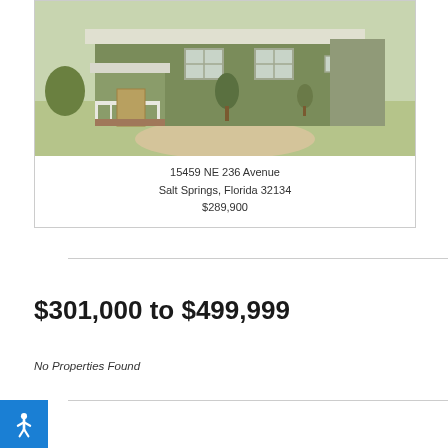[Figure (photo): Exterior photo of a single-story green/olive colored house with front porch, small trees, and sandy lawn area at 15459 NE 236 Avenue, Salt Springs, Florida]
15459 NE 236 Avenue
Salt Springs, Florida 32134
$289,900
$301,000 to $499,999
No Properties Found